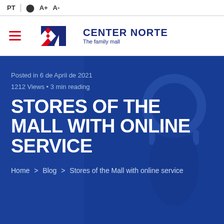PT | contrast A+ A-
[Figure (logo): Center Norte logo with CN monogram in red and blue, tagline 'The family mall']
Posted in 6 de April de 2021
1212 Views • 3 min reading
STORES OF THE MALL WITH ONLINE SERVICE
Home > Blog > Stores of the Mall with online service